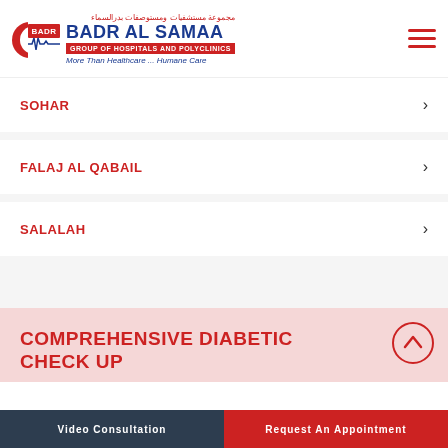[Figure (logo): Badr Al Samaa Group of Hospitals and Polyclinics logo with crescent and ECG line icon, Arabic text, and tagline 'More Than Healthcare...Humane Care']
SOHAR
FALAJ AL QABAIL
SALALAH
COMPREHENSIVE DIABETIC CHECK UP
Video Consultation  |  Request An Appointment